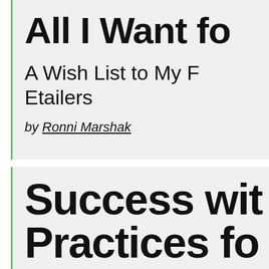All I Want fo
A Wish List to My F Etailers
by Ronni Marshak
Success with Practices fo